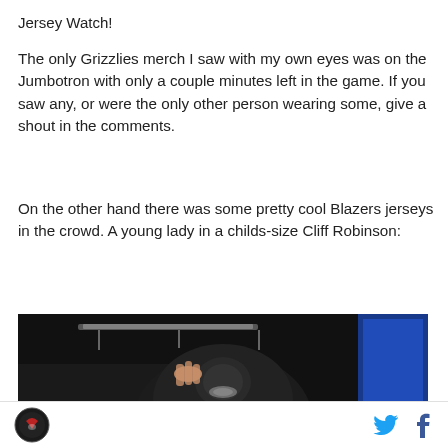Jersey Watch!
The only Grizzlies merch I saw with my own eyes was on the Jumbotron with only a couple minutes left in the game. If you saw any, or were the only other person wearing some, give a shout in the comments.
On the other hand there was some pretty cool Blazers jerseys in the crowd. A young lady in a childs-size Cliff Robinson:
[Figure (photo): Dark indoor arena photo showing the back of a young person with dark hair in a ponytail, with arena lights and a blue screen visible in the background.]
Logo icon and social media icons (Twitter, Facebook)